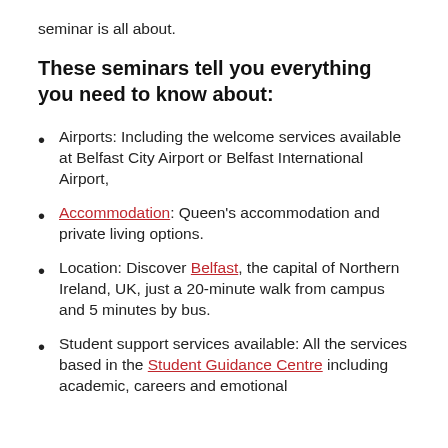seminar is all about.
These seminars tell you everything you need to know about:
Airports: Including the welcome services available at Belfast City Airport or Belfast International Airport,
Accommodation: Queen's accommodation and private living options.
Location: Discover Belfast, the capital of Northern Ireland, UK, just a 20-minute walk from campus and 5 minutes by bus.
Student support services available: All the services based in the Student Guidance Centre including academic, careers and emotional